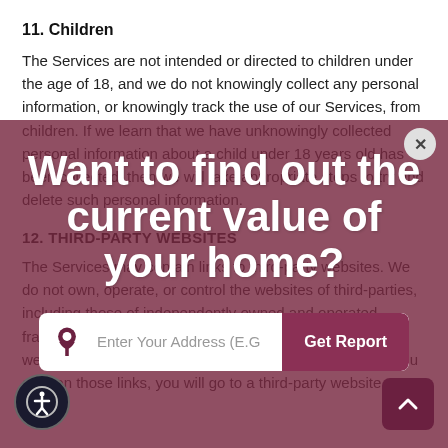11. Children
The Services are not intended or directed to children under the age of 18, and we do not knowingly collect any personal information, or knowingly track the use of our Services, from children. If we learn that we have unknowingly collected personal information about a child under 18 years old has been collected, then we will take appropriate steps to try and delete such personal information.
[Figure (infographic): Dark maroon overlay ad panel with large white bold text reading 'Want to find out the current value of your home?' and an address input widget with a 'Get Report' button. A close (x) button appears top right of the overlay.]
12. THIRD-PARTY WEBSITES
The Services may contain links to third-party websites. We do not own, operate, or control the websites of third-parties, including those of independently owned and operated franchisees. Accordingly, this Policy does not apply to any websites maintained or operated by third-parties. When you click on those links, you will go to a third-party website where